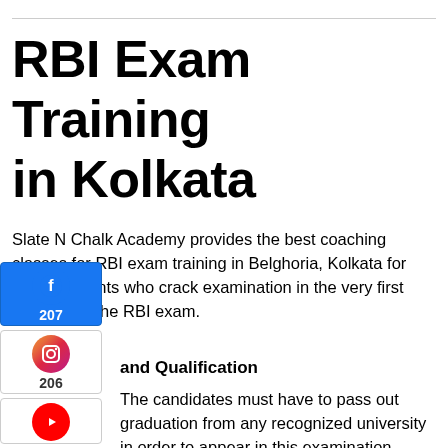RBI Exam Training in Kolkata
Slate N Chalk Academy provides the best coaching classes for RBI exam training in Belghoria, Kolkata for those students who crack examination in the very first attempt for the RBI exam.
and Qualification
The candidates must have to pass out graduation from any recognized university in order to appear in this examination. They should possess a minimum 50% marks (pass class for